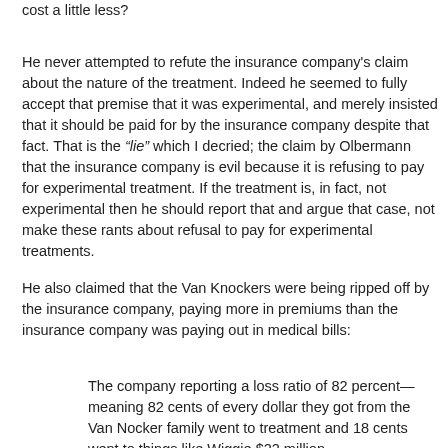cost a little less?
He never attempted to refute the insurance company's claim about the nature of the treatment. Indeed he seemed to fully accept that premise that it was experimental, and merely insisted that it should be paid for by the insurance company despite that fact. That is the “lie” which I decried; the claim by Olbermann that the insurance company is evil because it is refusing to pay for experimental treatment. If the treatment is, in fact, not experimental then he should report that and argue that case, not make these rants about refusal to pay for experimental treatments.
He also claimed that the Van Knockers were being ripped off by the insurance company, paying more in premiums than the insurance company was paying out in medical bills:
The company reporting a loss ratio of 82 percent—meaning 82 cents of every dollar they got from the Van Nocker family went to treatment and 18 cents went to things like Wiggie $22 million...